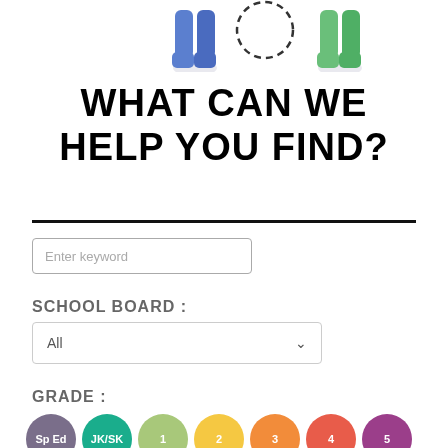[Figure (illustration): Two cartoon child figures (one blue, one green) shown from waist down, partially cropped at top of page]
WHAT CAN WE HELP YOU FIND?
Enter keyword
SCHOOL BOARD :
All
GRADE :
Sp Ed
JK/SK
1
2
3
4
5